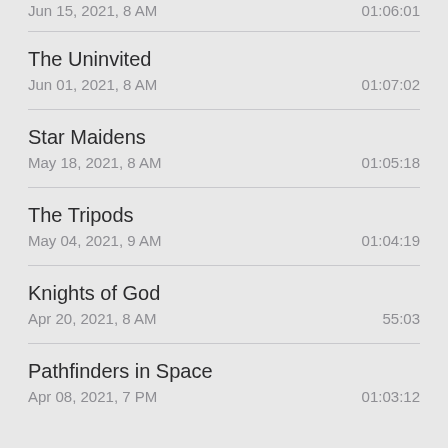Jun 15, 2021, 8 AM — 01:06:01
The Uninvited
Jun 01, 2021, 8 AM — 01:07:02
Star Maidens
May 18, 2021, 8 AM — 01:05:18
The Tripods
May 04, 2021, 9 AM — 01:04:19
Knights of God
Apr 20, 2021, 8 AM — 55:03
Pathfinders in Space
Apr 08, 2021, 7 PM — 01:03:12